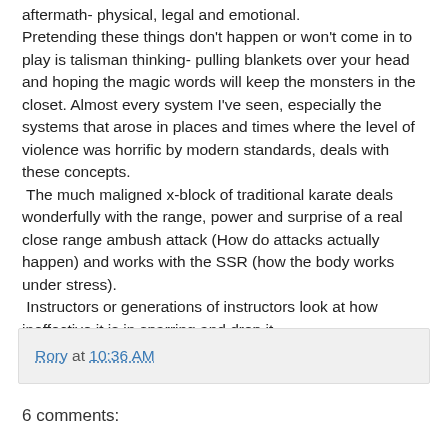aftermath- physical, legal and emotional. Pretending these things don't happen or won't come in to play is talisman thinking- pulling blankets over your head and hoping the magic words will keep the monsters in the closet. Almost every system I've seen, especially the systems that arose in places and times where the level of violence was horrific by modern standards, deals with these concepts.  The much maligned x-block of traditional karate deals wonderfully with the range, power and surprise of a real close range ambush attack (How do attacks actually happen) and works with the SSR (how the body works under stress).  Instructors or generations of instructors look at how ineffective it is in sparring and drop it. All this stuff is there, but the instructors as well as the students need to learn to see it
Rory at 10:36 AM
6 comments: